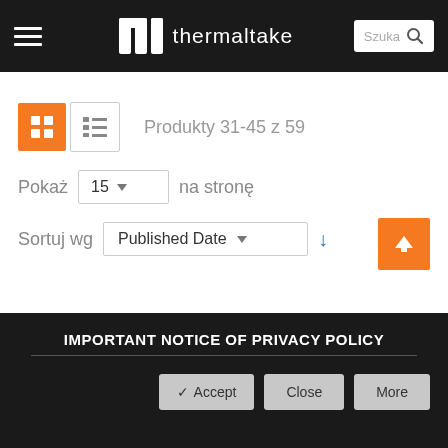[Figure (screenshot): Thermaltake website header with hamburger menu, logo, and search box]
Produkty 31-45 z 59
Pokaż 15 na stronę
Sortuj wg Published Date ↓
IMPORTANT NOTICE OF PRIVACY POLICY
✔ Accept   Close   More